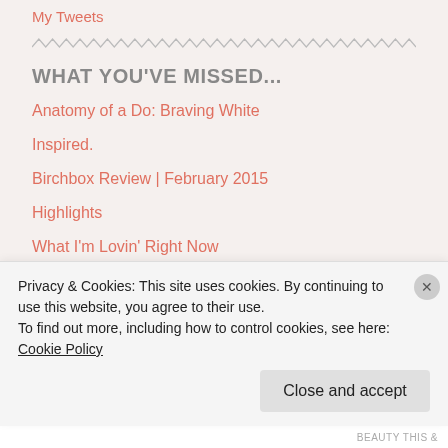My Tweets
WHAT YOU'VE MISSED...
Anatomy of a Do: Braving White
Inspired.
Birchbox Review | February 2015
Highlights
What I'm Lovin' Right Now
TOP FIVE: The 2015 Academy Awards
Privacy & Cookies: This site uses cookies. By continuing to use this website, you agree to their use. To find out more, including how to control cookies, see here: Cookie Policy
Close and accept